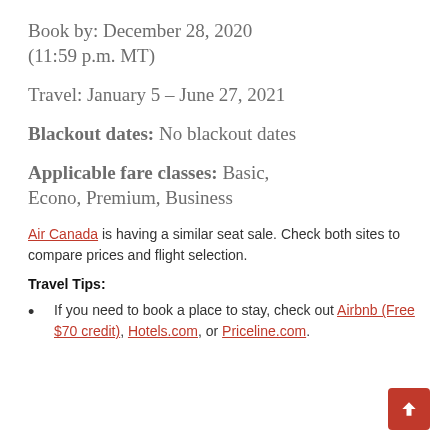Book by: December 28, 2020 (11:59 p.m. MT)
Travel: January 5 – June 27, 2021
Blackout dates: No blackout dates
Applicable fare classes: Basic, Econo, Premium, Business
Air Canada is having a similar seat sale. Check both sites to compare prices and flight selection.
Travel Tips:
If you need to book a place to stay, check out Airbnb (Free $70 credit), Hotels.com, or Priceline.com.